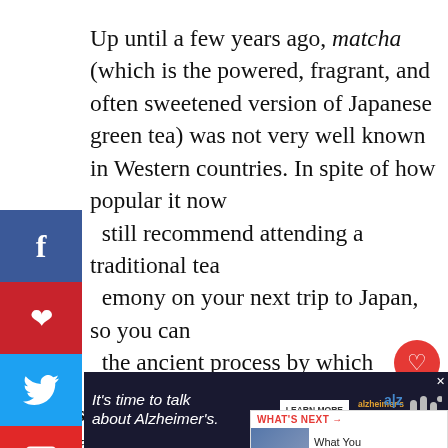Up until a few years ago, matcha (which is the powered, fragrant, and often sweetened version of Japanese green tea) was not very well known in Western countries. In spite of how popular it now [I] still recommend attending a traditional tea [cer]emony on your next trip to Japan, so you can [se]e the ancient process by which Geishas prepare
[Figure (infographic): Social media share sidebar with Facebook (blue), Pinterest (red), Twitter (cyan), and Flipboard (red) buttons on the left side of the page]
[Figure (infographic): Heart/like button (red circle, count 8) and share icon on the right side]
Bonus TIP: If you're in Kyoto or any other traditional city in Japan, your hotel can arrange attendance at a nearby ceremony for you:)
[Figure (infographic): What's Next widget with image and text: 'What You Need to Kno...']
[Figure (infographic): Advertisement banner: It's time to talk about Alzheimer's. LEARN MORE. Alzheimer's Association logo.]